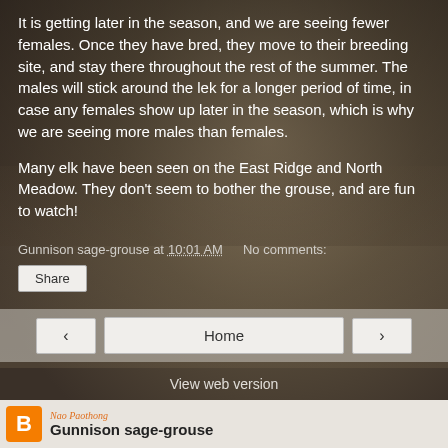[Figure (photo): Background photo of Gunnison sage-grouse birds on grassy terrain, with two grouse facing each other in the lower portion]
It is getting later in the season, and we are seeing fewer females. Once they have bred, they move to their breeding site, and stay there throughout the rest of the summer. The males will stick around the lek for a longer period of time, in case any females show up later in the season, which is why we are seeing more males than females.
Many elk have been seen on the East Ridge and North Meadow. They don't seem to bother the grouse, and are fun to watch!
Gunnison sage-grouse at 10:01 AM    No comments:
Share
Home
View web version
Nao Paothong
Gunnison sage-grouse